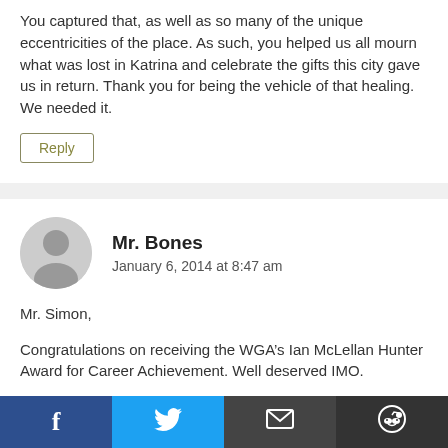You captured that, as well as so many of the unique eccentricities of the place. As such, you helped us all mourn what was lost in Katrina and celebrate the gifts this city gave us in return. Thank you for being the vehicle of that healing. We needed it.
Reply
Mr. Bones
January 6, 2014 at 8:47 am
Mr. Simon,
Congratulations on receiving the WGA’s Ian McLellan Hunter Award for Career Achievement. Well deserved IMO.
Reply
[Figure (other): Social sharing bar with Facebook, Twitter, email, and Reddit icons]